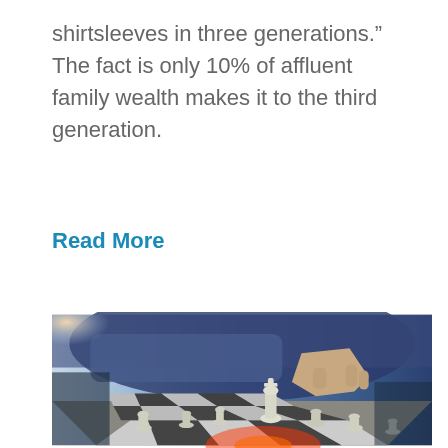shirtsleeves in three generations.” The fact is only 10% of affluent family wealth makes it to the third generation.
Read More
[Figure (photo): A person's hand moving a chess piece on a chess board, shown from a low angle close-up perspective with blue-toned lighting.]